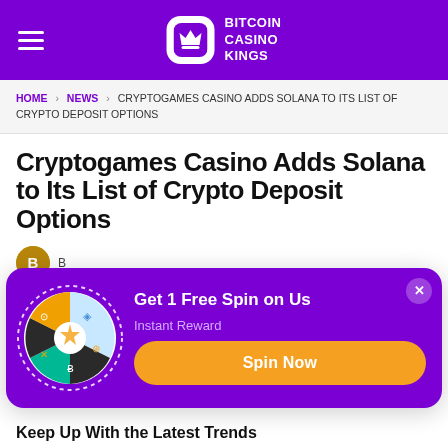Bitcoin Casino Kings
HOME > NEWS > CRYPTOGAMES CASINO ADDS SOLANA TO ITS LIST OF CRYPTO DEPOSIT OPTIONS
Cryptogames Casino Adds Solana to Its List of Crypto Deposit Options
[Figure (infographic): Promotional popup overlay with a spin wheel graphic, text 'Get 1 Free Spin on Us', 'Instant Reward', and an orange 'Spin Now' button on a purple background.]
There... ater impact... One casino... ons to be ab... hance to use...
Keep Up With the Latest Trends